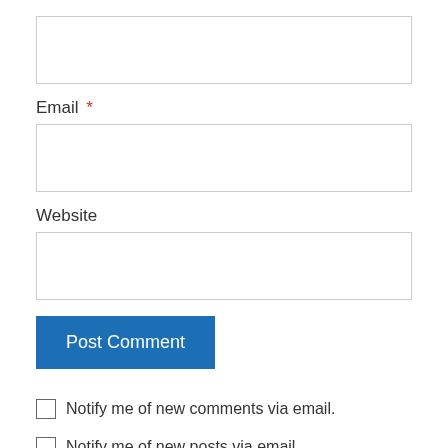[Figure (other): Empty text input field at top of page (partially visible)]
Email *
[Figure (other): Email input field]
Website
[Figure (other): Website input field]
Post Comment
Notify me of new comments via email.
Notify me of new posts via email.
razzoukrazzouk on May 10, 2017 at 4:01 am